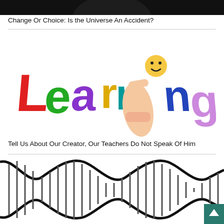[Figure (photo): Dark image cropped at top, appears to be a planet or globe against black background]
Change Or Choice: Is the Universe An Accident?
[Figure (photo): Colorful 3D LEARNING text with a thumbs up hand and smiley face emoji]
Tell Us About Our Creator, Our Teachers Do Not Speak Of Him
[Figure (photo): Black and white DNA double helix illustration, partially visible at bottom of page]